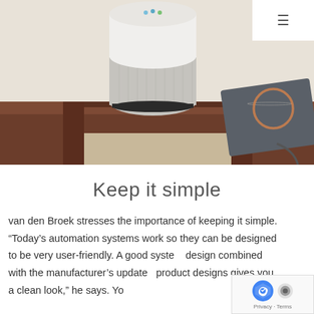[Figure (photo): Google Home smart speaker sitting on a wooden table next to a dark notebook/tablet with an orange circle design, against a light beige/white wall background.]
Keep it simple
van den Broek stresses the importance of keeping it simple. “Today’s automation systems work so they can be designed to be very user-friendly. A good system design combined with the manufacturer’s updated product designs gives you a clean look,” he says. Yo...